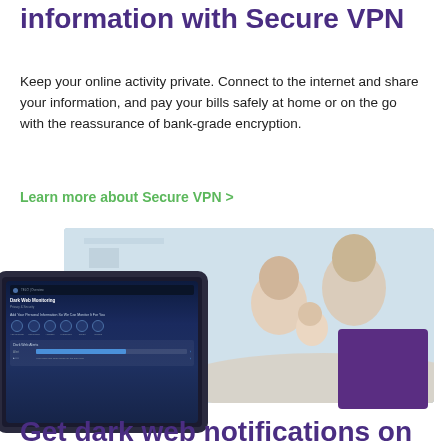information with Secure VPN
Keep your online activity private. Connect to the internet and share your information, and pay your bills safely at home or on the go with the reassurance of bank-grade encryption.
Learn more about Secure VPN >
[Figure (photo): A family (man, woman, and baby) sitting together looking at a tablet device, with a Dark Web Monitoring screen overlay showing on a tablet in the foreground. A purple square decorative element is in the bottom right.]
Get dark web notifications on